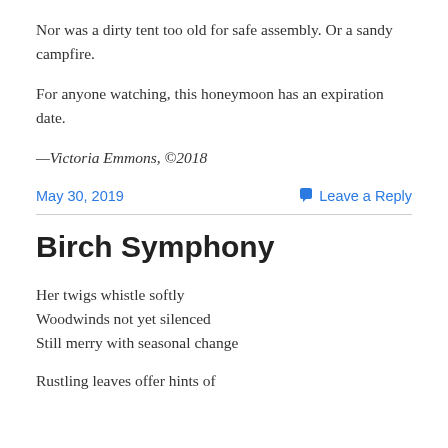Nor was a dirty tent too old for safe assembly. Or a sandy campfire.
For anyone watching, this honeymoon has an expiration date.
—Victoria Emmons, ©2018
May 30, 2019    Leave a Reply
Birch Symphony
Her twigs whistle softly
Woodwinds not yet silenced
Still merry with seasonal change
Rustling leaves offer hints of